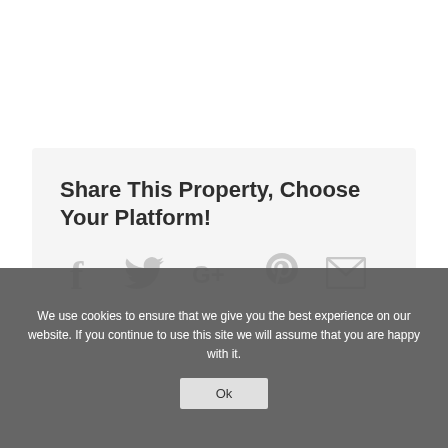Share This Property, Choose Your Platform!
[Figure (infographic): Social sharing icons: Facebook (f), Twitter (bird), Google+, Pinterest (p), Email (envelope) — all in light grey]
We use cookies to ensure that we give you the best experience on our website. If you continue to use this site we will assume that you are happy with it.
Ok